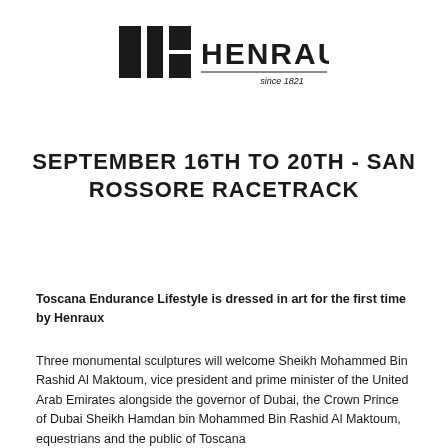[Figure (logo): Henraux logo with geometric square/rectangle icon on left and 'HENRAUX' text with 'since 1821' tagline on right]
SEPTEMBER 16TH TO 20TH - SAN ROSSORE RACETRACK
Toscana Endurance Lifestyle is dressed in art for the first time by Henraux
Three monumental sculptures will welcome Sheikh Mohammed Bin Rashid Al Maktoum, vice president and prime minister of the United Arab Emirates alongside the governor of Dubai, the Crown Prince of Dubai Sheikh Hamdan bin Mohammed Bin Rashid Al Maktoum, equestrians and the public of Toscana